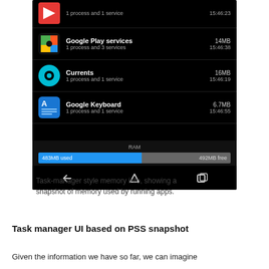[Figure (screenshot): Android task manager screenshot showing running apps (Google Play services: 14MB/15:46:38, Currents: 16MB/15:46:19, Google Keyboard: 6.7MB/15:46:55) with a RAM bar showing 483MB used and 492MB free, and Android navigation bar at bottom.]
Task-manager style memory info, showing a snapshot of memory used by running apps.
Task manager UI based on PSS snapshot
Given the information we have so far, we can imagine